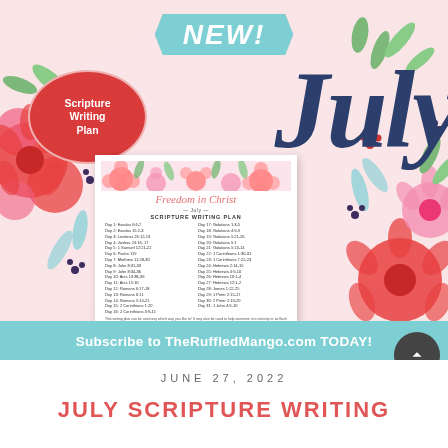[Figure (illustration): July Scripture Writing Plan promotional graphic with floral decorations, 'NEW!' banner in teal, red oval with 'Scripture Writing Plan' text, large cursive 'July' in navy, a preview card showing 'Freedom in Christ' scripture writing plan schedule, and a teal 'Subscribe to TheRuffledMango.com TODAY!' banner at the bottom. A dark scroll-to-top button is in the lower right corner.]
JUNE 27, 2022
JULY SCRIPTURE WRITING